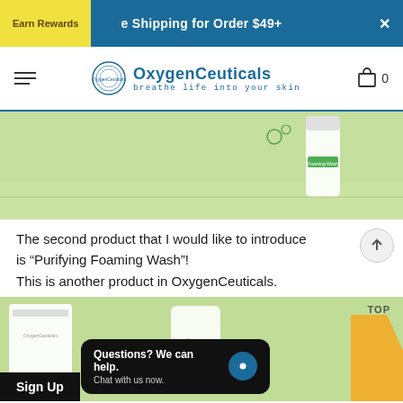Earn Rewards | Free Shipping for Order $49+
[Figure (logo): OxygenCeuticals logo with circular emblem and tagline 'breathe life into your skin']
[Figure (photo): Product photo showing Purifying Foaming Wash tube on green background]
The second product that I would like to introduce is “Purifying Foaming Wash”! This is another product in OxygenCeuticals.
[Figure (photo): Second product photo on green background with chat overlay popup reading 'Questions? We can help. Chat with us now.' and Sign Up button]